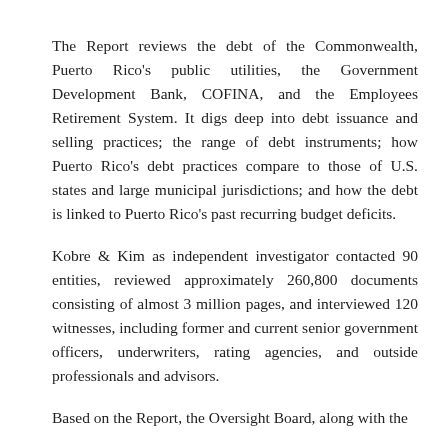The Report reviews the debt of the Commonwealth, Puerto Rico's public utilities, the Government Development Bank, COFINA, and the Employees Retirement System. It digs deep into debt issuance and selling practices; the range of debt instruments; how Puerto Rico's debt practices compare to those of U.S. states and large municipal jurisdictions; and how the debt is linked to Puerto Rico's past recurring budget deficits.
Kobre & Kim as independent investigator contacted 90 entities, reviewed approximately 260,800 documents consisting of almost 3 million pages, and interviewed 120 witnesses, including former and current senior government officers, underwriters, rating agencies, and outside professionals and advisors.
Based on the Report, the Oversight Board, along with the